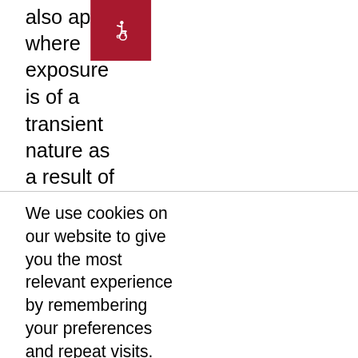also apply where exposure is of a transient nature as a result of incidental passage through a location where exposure levels may be above general population/uncontrolled limits (see definition above), as long as the exposed person has been made fully aware of the potential for exposure and can exercise control over his or her exposure by leaving
[Figure (illustration): Accessibility icon (wheelchair symbol) in white on dark red/maroon background, positioned top right corner]
We use cookies on our website to give you the most relevant experience by remembering your preferences and repeat visits. By clicking “Accept All”, you consent to the use of ALL the cookies. However, you may visit "Cookie Settings" to provide a controlled consent.
Cookie Settings
Accept All